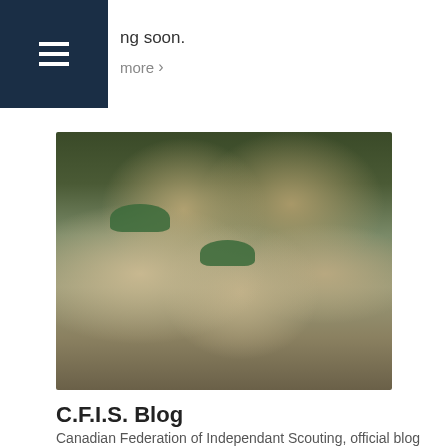ng soon.
more >
[Figure (photo): Group photo of Canadian Federation of Independent Scouting members in tan/khaki scout uniforms with green berets and red-white-blue neckerchiefs, standing outdoors]
C.F.I.S. Blog
Canadian Federation of Independant Scouting, official blog